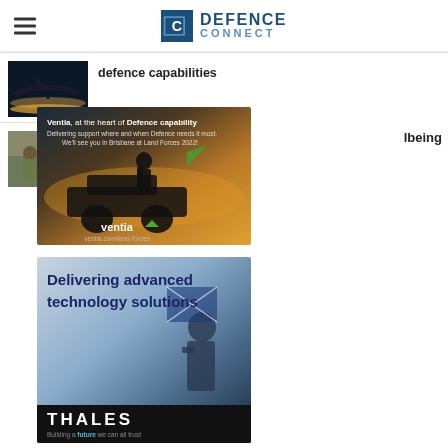Defence Connect
defence capabilities
[Figure (screenshot): Ventia advertisement: 'Ventia, at the heart of Defence capability. Delivering support where and when Defence needs it most. We'll see you in Brisbane at Land Forces 2022! ventia.com/land-forces' — dark background with military vehicle silhouette at sunset]
lbeing
[Figure (screenshot): Thales advertisement: 'Delivering advanced technology solutions' with soldier and Australian flag background. Thales logo bar: 'Building a future we can all trust']